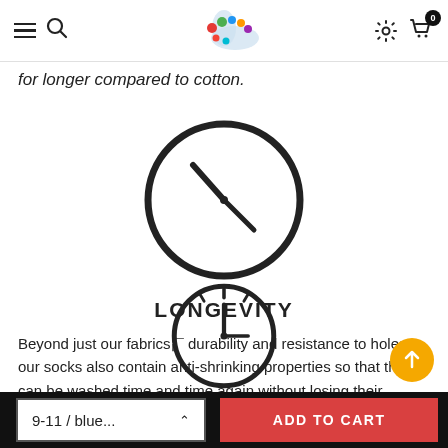Navigation bar with menu, search, logo, settings, and cart icons
for longer compared to cotton.
[Figure (illustration): Clock icon showing approximately 10:10 time, large circular outline with hour and minute hands]
LONGEVITY
Beyond just our fabrics¡¯ durability and resistance to holes, our socks also contain anti-shrinking properties so that they can be washed time and time again without losing their shape, size, or elasticity.
[Figure (illustration): Partial clock icon visible at the bottom of the page]
9-11 / blue...  ADD TO CART